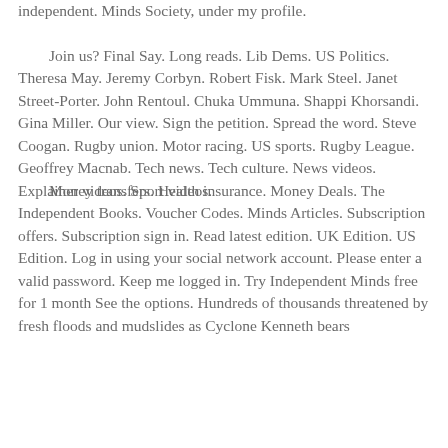independent. Minds Society, under my profile.

        Join us? Final Say. Long reads. Lib Dems. US Politics. Theresa May. Jeremy Corbyn. Robert Fisk. Mark Steel. Janet Street-Porter. John Rentoul. Chuka Ummuna. Shappi Khorsandi. Gina Miller. Our view. Sign the petition. Spread the word. Steve Coogan. Rugby union. Motor racing. US sports. Rugby League. Geoffrey Macnab. Tech news. Tech culture. News videos. Explainer videos. Sport videos.
Money transfers. Health insurance. Money Deals. The Independent Books. Voucher Codes. Minds Articles. Subscription offers. Subscription sign in. Read latest edition. UK Edition. US Edition. Log in using your social network account. Please enter a valid password. Keep me logged in. Try Independent Minds free for 1 month See the options. Hundreds of thousands threatened by fresh floods and mudslides as Cyclone Kenneth bears